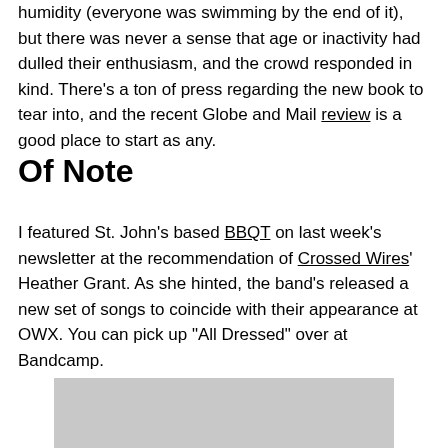humidity (everyone was swimming by the end of it), but there was never a sense that age or inactivity had dulled their enthusiasm, and the crowd responded in kind. There's a ton of press regarding the new book to tear into, and the recent Globe and Mail review is a good place to start as any.
Of Note
I featured St. John's based BBQT on last week's newsletter at the recommendation of Crossed Wires' Heather Grant. As she hinted, the band's released a new set of songs to coincide with their appearance at OWX. You can pick up "All Dressed" over at Bandcamp.
[Figure (photo): A gray placeholder image block]